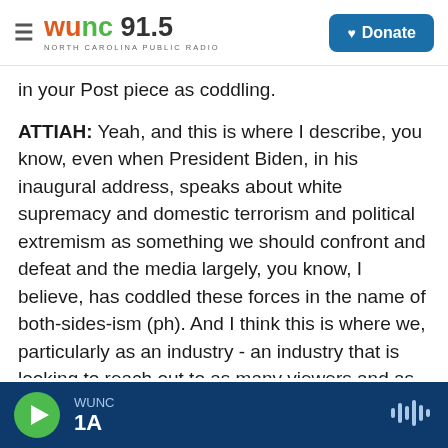WUNC 91.5 NORTH CAROLINA PUBLIC RADIO | Donate
in your Post piece as coddling.
ATTIAH: Yeah, and this is where I describe, you know, even when President Biden, in his inaugural address, speaks about white supremacy and domestic terrorism and political extremism as something we should confront and defeat and the media largely, you know, I believe, has coddled these forces in the name of both-sides-ism (ph). And I think this is where we, particularly as an industry - an industry that is looking to reach out to as many viewers and as many readers from both sides of the spectrum - I think the problem that
WUNC 1A [audio player]